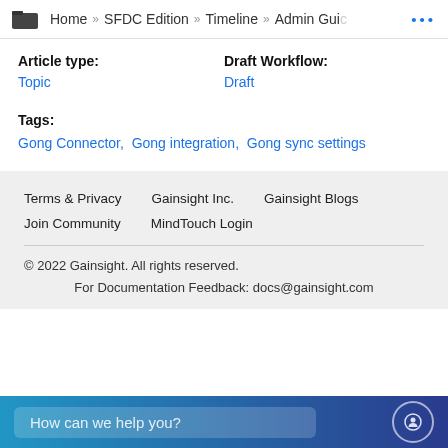Home » SFDC Edition » Timeline » Admin Guid ...
Article type: Topic
Draft Workflow: Draft
Tags:
Gong Connector,  Gong integration,  Gong sync settings
Terms & Privacy    Gainsight Inc.    Gainsight Blogs
Join Community    MindTouch Login
© 2022 Gainsight. All rights reserved.
For Documentation Feedback: docs@gainsight.com
How can we help you?